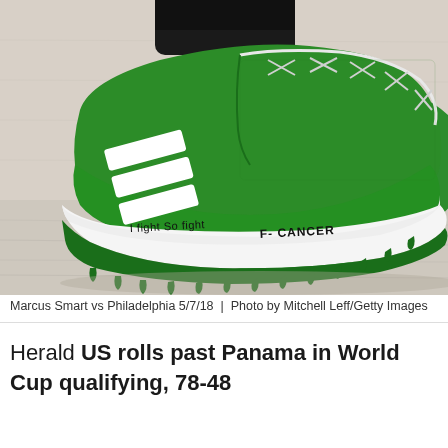[Figure (photo): Close-up photo of a green Adidas basketball sneaker (Damian Lillard signature shoe) with white sole. Written on the white midsole in black marker: 'I Fight So Fight F- CANCER'. The shoe has three white Adidas stripes on the side and green laces. A black sock is visible at the top. The shoe is on a light wood basketball court floor.]
Marcus Smart vs Philadelphia 5/7/18  |  Photo by Mitchell Leff/Getty Images
Herald US rolls past Panama in World Cup qualifying, 78-48